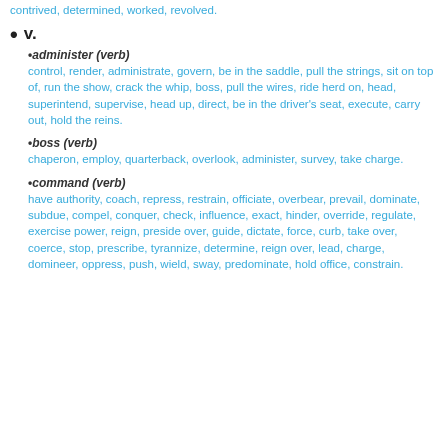contrived, determined, worked, revolved.
v.
•administer (verb)
control, render, administrate, govern, be in the saddle, pull the strings, sit on top of, run the show, crack the whip, boss, pull the wires, ride herd on, head, superintend, supervise, head up, direct, be in the driver's seat, execute, carry out, hold the reins.
•boss (verb)
chaperon, employ, quarterback, overlook, administer, survey, take charge.
•command (verb)
have authority, coach, repress, restrain, officiate, overbear, prevail, dominate, subdue, compel, conquer, check, influence, exact, hinder, override, regulate, exercise power, reign, preside over, guide, dictate, force, curb, take over, coerce, stop, prescribe, tyrannize, determine, reign over, lead, charge, domineer, oppress, push, wield, sway, predominate, hold office, constrain.